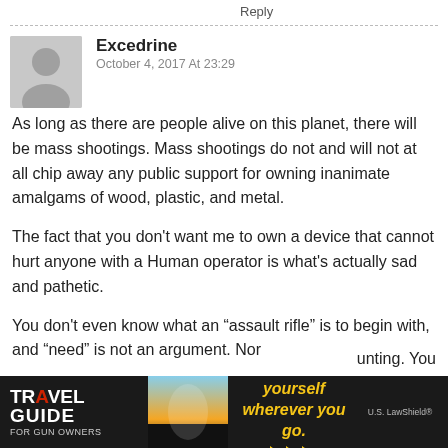Reply
Excedrine
October 4, 2017 At 23:29
As long as there are people alive on this planet, there will be mass shootings. Mass shootings do not and will not at all chip away any public support for owning inanimate amalgams of wood, plastic, and metal.
The fact that you don't want me to own a device that cannot hurt anyone with a Human operator is what's actually sad and pathetic.
You don't even know what an “assault rifle” is to begin with, and “need” is not an argument. Nor
unting. You
[Figure (photo): Travel Guide for Gun Owners advertisement banner with text 'Protect yourself wherever you go.' and arrows logo with U.S. LawShield branding.]